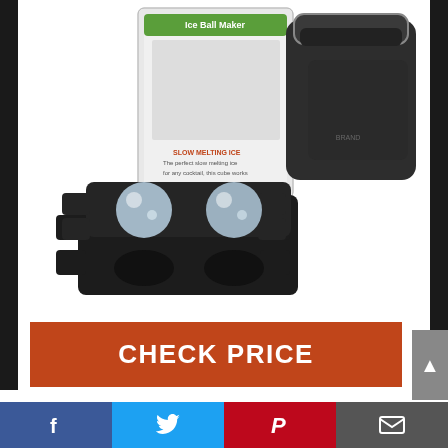[Figure (photo): Ice Ball Maker product photo showing the mold device with two spherical ice balls, a black textured container/bucket, and the product box in the background.]
CHECK PRICE
Feature
✅ MAKE CRYSTAL CLEAR ICE CUBE
Facebook | Twitter | Pinterest | Email social sharing bar